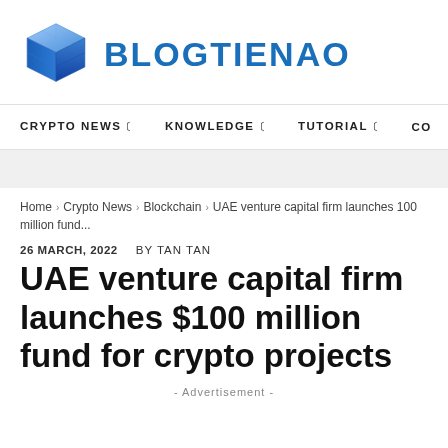[Figure (logo): Blogtienao logo with blue 3D cube icon and text BLOGTIENAO in blue]
CRYPTO NEWS  KNOWLEDGE  TUTORIAL  CO
Home › Crypto News › Blockchain › UAE venture capital firm launches 100 million fund...
26 MARCH, 2022   BY TAN TAN
UAE venture capital firm launches $100 million fund for crypto projects
- Advertisement -